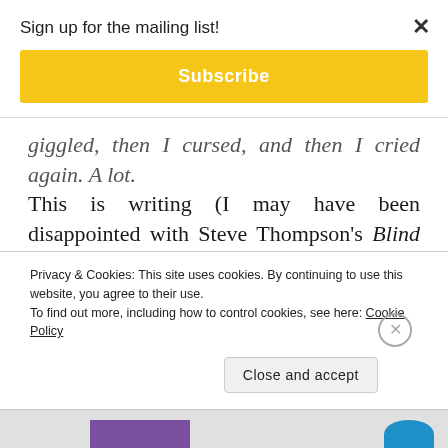Sign up for the mailing list!
Subscribe
giggled, then I cursed, and then I cried again. A lot. This is writing (I may have been disappointed with Steve Thompson's Blind Banker last series, but this… this is perfection, and I bow to his script), directing, and acting genius on a silver platter, and if this series of Sherlock does not win just about every award there is to win, then I don't know what's wrong with the world.
Privacy & Cookies: This site uses cookies. By continuing to use this website, you agree to their use. To find out more, including how to control cookies, see here: Cookie Policy
Close and accept